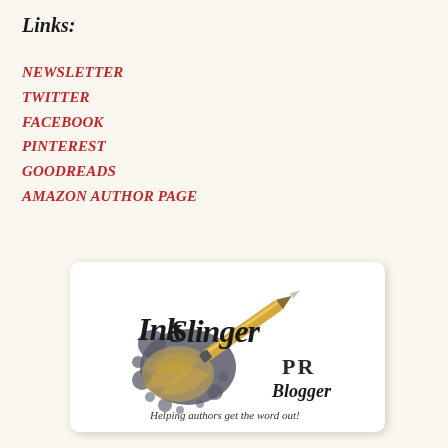Links:
NEWSLETTER
TWITTER
FACEBOOK
PINTEREST
GOODREADS
AMAZON AUTHOR PAGE
[Figure (logo): InkSlinger PR Blogger logo — decorative script text 'InkSlinger' with a gold pen and ink splatter, 'PR Blogger' text below, tagline 'Helping authors get the word out!']